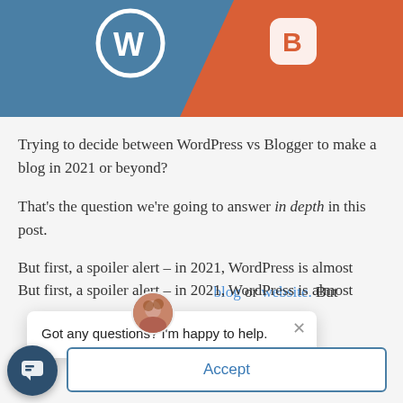[Figure (illustration): Header image showing WordPress and Blogger logos on blue and orange diagonal background]
Trying to decide between WordPress vs Blogger to make a blog in 2021 or beyond?
That's the question we're going to answer in depth in this post.
But first, a spoiler alert – in 2021, WordPress is almost always a better choice to start a blog or website. But
[Figure (screenshot): Chat popup with avatar: 'Got any questions? I'm happy to help.' with close X button]
Consent
nd our service.
Accept